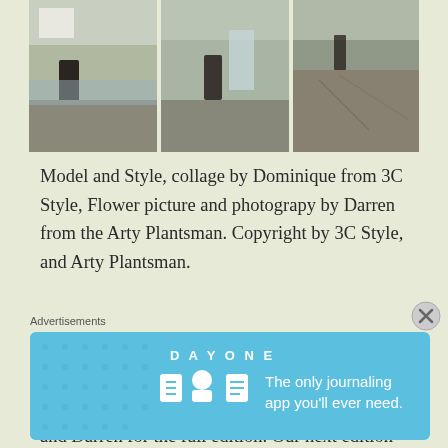[Figure (photo): A collage of three outdoor photos showing a model posing among rocks near a waterfall, white building visible in background.]
Model and Style, collage by Dominique from 3C Style, Flower picture and photograpy by Darren from the Arty Plantsman. Copyright by 3C Style, and Arty Plantsman.
I hope you enjoyed our edition of When Fashion and Nature Collide. Don't forget to visit Dominique and Darren for the full edition. Our next edition will be on December 19th 🙂
Advertisements
[Figure (screenshot): Day One journaling app advertisement banner: 'The only journaling app you'll ever need.' with illustrated icons on blue background.]